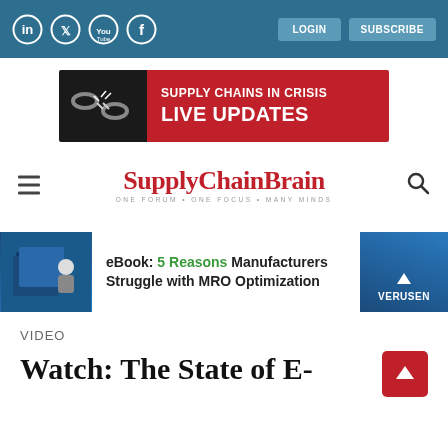Social icons: LinkedIn, Twitter, YouTube, Facebook | LOGIN | SUBSCRIBE
[Figure (illustration): Supply Chains in Crisis - Live Updates banner ad with broken chain image on black background and red section with white text]
[Figure (logo): SupplyChainBrain logo with tagline ONE FORUM ONE FOCUS MANY MINDS, hamburger menu icon left, search icon right]
[Figure (illustration): eBook: 5 Reasons Manufacturers Struggle with MRO Optimization - Verusen sponsored banner]
VIDEO
Watch: The State of E-